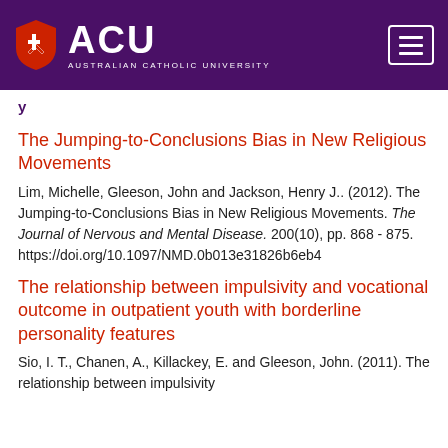ACU Australian Catholic University
The Jumping-to-Conclusions Bias in New Religious Movements
Lim, Michelle, Gleeson, John and Jackson, Henry J.. (2012). The Jumping-to-Conclusions Bias in New Religious Movements. The Journal of Nervous and Mental Disease. 200(10), pp. 868 - 875. https://doi.org/10.1097/NMD.0b013e31826b6eb4
The relationship between impulsivity and vocational outcome in outpatient youth with borderline personality features
Sio, I. T., Chanen, A., Killackey, E. and Gleeson, John. (2011). The relationship between impulsivity